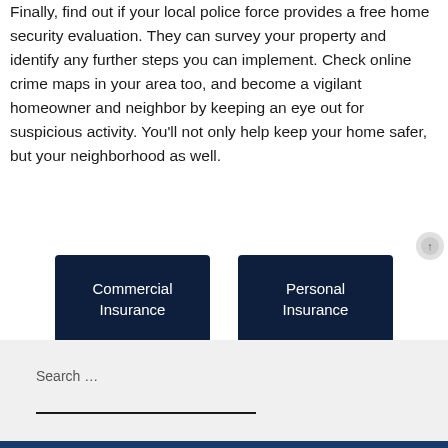Finally, find out if your local police force provides a free home security evaluation. They can survey your property and identify any further steps you can implement. Check online crime maps in your area too, and become a vigilant homeowner and neighbor by keeping an eye out for suspicious activity. You'll not only help keep your home safer, but your neighborhood as well.
Commercial Insurance
Personal Insurance
Search ...